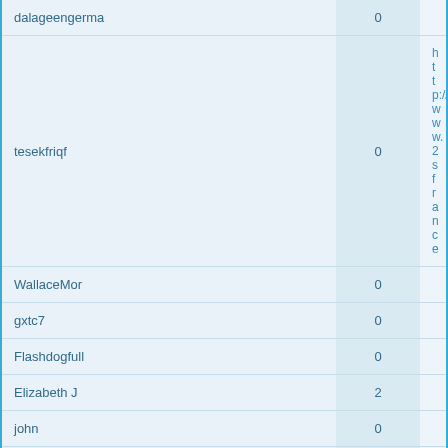| Username | Posts | Website |
| --- | --- | --- |
| dalageengerma | 0 |  |
| tesekfriqf | 0 | http://www.2s... france |
| WallaceMor | 0 |  |
| gxtc7 | 0 |  |
| Flashdogfull | 0 |  |
| Elizabeth J | 2 |  |
| john | 0 |  |
| philslade | 1 |  |
| Matt | 0 |  |
533
Jump to:  Select a forum
Board index   The team •
Powered by phpBB® Forum Software © phpBB Gr